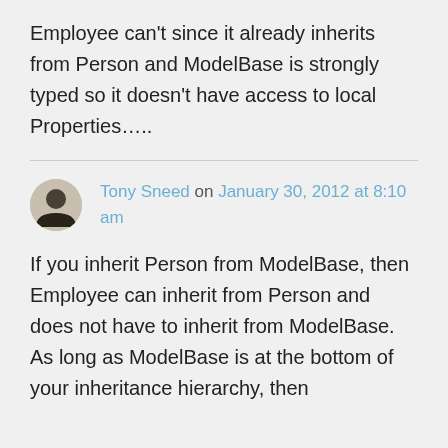Employee can't since it already inherits from Person and ModelBase is strongly typed so it doesn't have access to local Properties…..
Tony Sneed on January 30, 2012 at 8:10 am
If you inherit Person from ModelBase, then Employee can inherit from Person and does not have to inherit from ModelBase. As long as ModelBase is at the bottom of your inheritance hierarchy, then